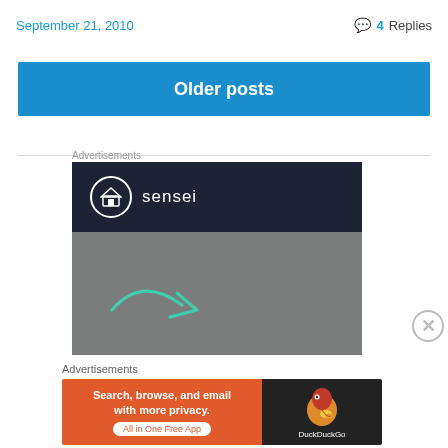September 21, 2010
💬 4 Replies
Older posts
Advertisements
[Figure (illustration): Sensei advertisement showing the Sensei logo (white circle with house/tree icon and the word 'sensei') on dark navy background, with a grey lower section showing a teal arrow pointing right over abstract shapes.]
✕
Advertisements
[Figure (illustration): DuckDuckGo advertisement. Left orange section: 'Search, browse, and email with more privacy. All in One Free App'. Right dark section with DuckDuckGo duck logo.]